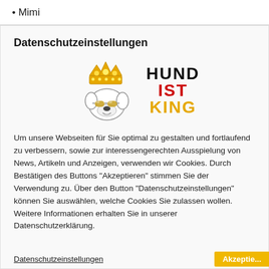Mimi
Datenschutzeinstellungen
[Figure (logo): Dog with crown and sunglasses logo next to bold text reading HUND IST KING, with HUND in black, IST in red, KING in gold/yellow]
Um unsere Webseiten für Sie optimal zu gestalten und fortlaufend zu verbessern, sowie zur interessengerechten Ausspielung von News, Artikeln und Anzeigen, verwenden wir Cookies. Durch Bestätigen des Buttons "Akzeptieren" stimmen Sie der Verwendung zu. Über den Button "Datenschutzeinstellungen" können Sie auswählen, welche Cookies Sie zulassen wollen. Weitere Informationen erhalten Sie in unserer Datenschutzerklärung.
Datenschutzeinstellungen